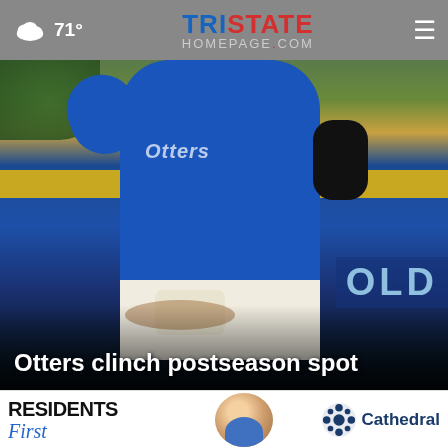71° | TristateHomepage.com
[Figure (photo): Baseball player in blue Otters uniform at base, with 'OLD' sponsor banner visible in background]
Otters clinch postseason spot
[Figure (photo): Video thumbnail - fireworks/night scene with play button]
[Figure (photo): Video thumbnail - green sports field with play button and close X button]
[Figure (photo): Advertisement banner: RESIDENTS First - Cathedral]